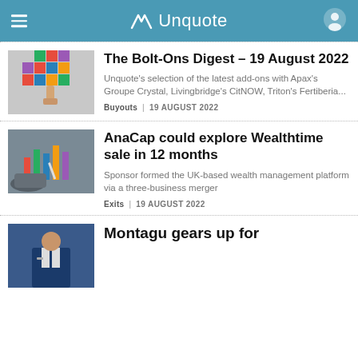Unquote
The Bolt-Ons Digest - 19 August 2022
Unquote's selection of the latest add-ons with Apax's Groupe Crystal, Livingbridge's CitNOW, Triton's Fertiberia...
Buyouts | 19 AUGUST 2022
AnaCap could explore Wealthtime sale in 12 months
Sponsor formed the UK-based wealth management platform via a three-business merger
Exits | 19 AUGUST 2022
Montagu gears up for